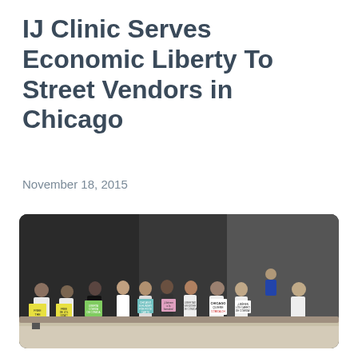IJ Clinic Serves Economic Liberty To Street Vendors in Chicago
November 18, 2015
[Figure (photo): Group of people sitting and standing outdoors holding handwritten protest signs about food vendor freedom in Chicago. Signs include text such as 'FREE THE FOOD GUYS', 'CHICAGO IS HUNGRY FOR FOOD CARTS', 'Chicago Quiere Comida', '¡Libérenlos de las formales!', 'LIBERTAD PARA LOS CARRO DE COMIDA', and others in English and Spanish.]